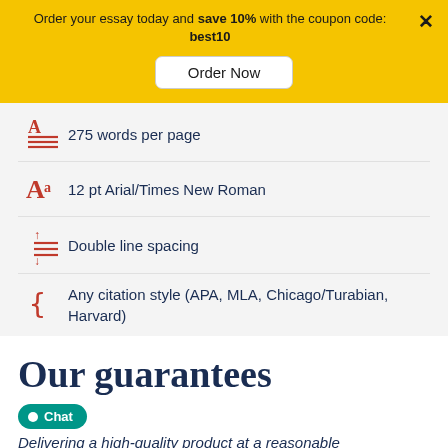Order your essay today and save 10% with the coupon code: best10
Order Now
275 words per page
12 pt Arial/Times New Roman
Double line spacing
Any citation style (APA, MLA, Chicago/Turabian, Harvard)
Our guarantees
Chat
Delivering a high-quality product at a reasonable